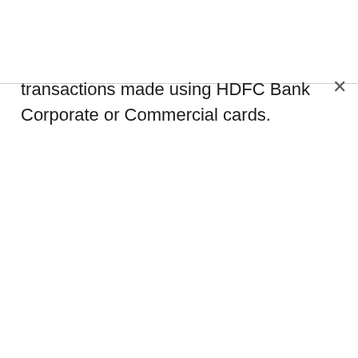transactions made using HDFC Bank Corporate or Commercial cards.